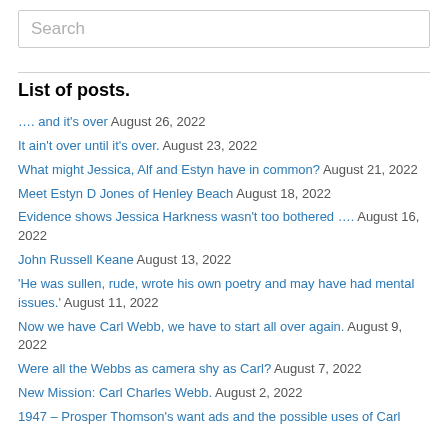Search
List of posts.
…. and it's over August 26, 2022
It ain't over until it's over. August 23, 2022
What might Jessica, Alf and Estyn have in common? August 21, 2022
Meet Estyn D Jones of Henley Beach August 18, 2022
Evidence shows Jessica Harkness wasn't too bothered …. August 16, 2022
John Russell Keane August 13, 2022
'He was sullen, rude, wrote his own poetry and may have had mental issues.' August 11, 2022
Now we have Carl Webb, we have to start all over again. August 9, 2022
Were all the Webbs as camera shy as Carl? August 7, 2022
New Mission: Carl Charles Webb. August 2, 2022
1947 – Prosper Thomson's want ads and the possible uses of Carl